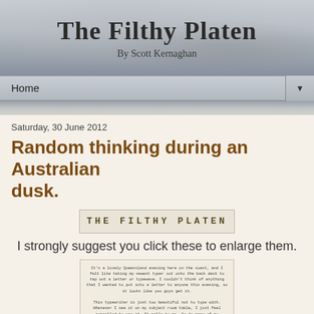The Filthy Platen
By Scott Kernaghan
Home
Saturday, 30 June 2012
Random thinking during an Australian dusk.
[Figure (illustration): THE FILTHY PLATEN typewriter-style header image with bordered text on aged paper background]
I strongly suggest you click these to enlarge them.
[Figure (photo): A typed letter on paper with typewriter font, describing a Queensland evening and typing on a typewriter]